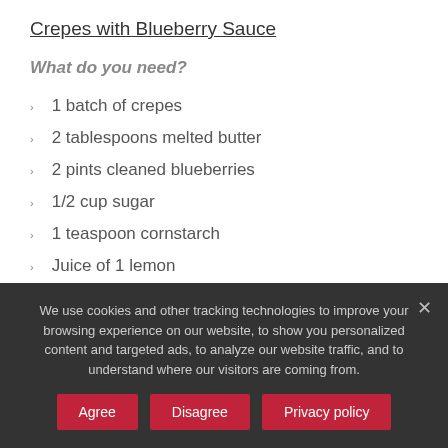Crepes with Blueberry Sauce
What do you need?
1 batch of crepes
2 tablespoons melted butter
2 pints cleaned blueberries
1/2 cup sugar
1 teaspoon cornstarch
Juice of 1 lemon
Intructions:
We use cookies and other tracking technologies to improve your browsing experience on our website, to show you personalized content and targeted ads, to analyze our website traffic, and to understand where our visitors are coming from.